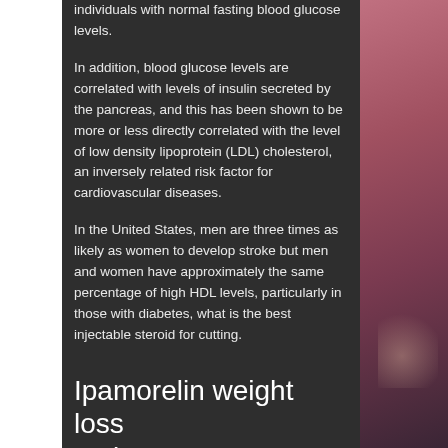individuals with normal fasting blood glucose levels.
In addition, blood glucose levels are correlated with levels of insulin secreted by the pancreas, and this has been shown to be more or less directly correlated with the level of low density lipoprotein (LDL) cholesterol, an inversely related risk factor for cardiovascular diseases.
In the United States, men are three times as likely as women to develop stroke but men and women have approximately the same percentage of high HDL levels, particularly in those with diabetes, what is the best injectable steroid for cutting.
Ipamorelin weight loss reviews